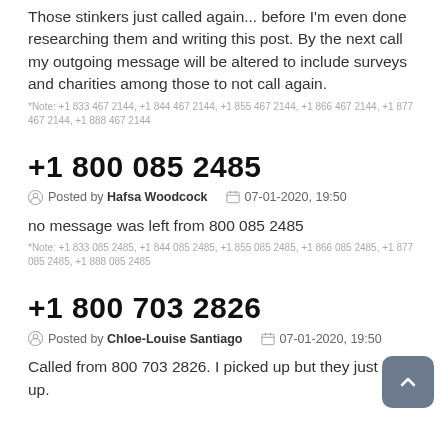Those stinkers just called again... before I'm even done researching them and writing this post. By the next call my outgoing message will be altered to include surveys and charities among those to not call again.
*Note: +1 833 467 2144, +1 844 467 2144, +1 855 467 2144, +1 866 467 2144, +1 877 467 2144, +1 888 467 2144
+1 800 085 2485
Posted by Hafsa Woodcock  07-01-2020, 19:50
no message was left from 800 085 2485
*Note: +1 833 085 2485, +1 844 085 2485, +1 855 085 2485, +1 866 085 2485, +1 877 085 2485, +1 888 085 2485
+1 800 703 2826
Posted by Chloe-Louise Santiago  07-01-2020, 19:50
Called from 800 703 2826. I picked up but they just hung up.